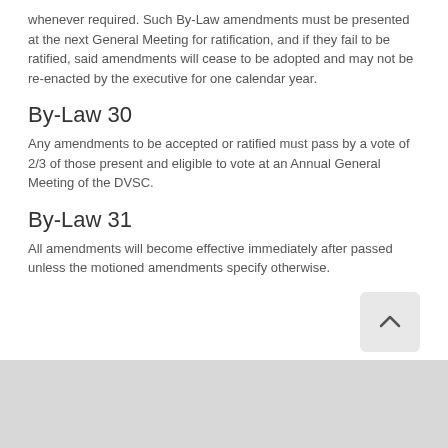whenever required. Such By-Law amendments must be presented at the next General Meeting for ratification, and if they fail to be ratified, said amendments will cease to be adopted and may not be re-enacted by the executive for one calendar year.
By-Law 30
Any amendments to be accepted or ratified must pass by a vote of 2/3 of those present and eligible to vote at an Annual General Meeting of the DVSC.
By-Law 31
All amendments will become effective immediately after passed unless the motioned amendments specify otherwise.